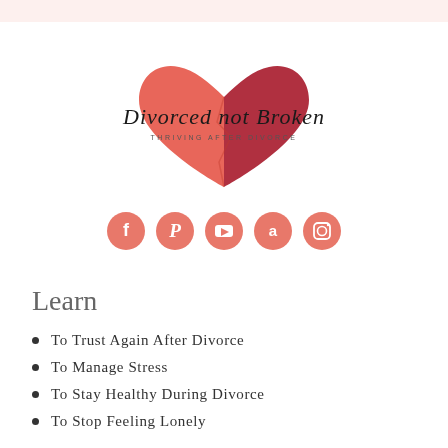[Figure (logo): Divorced not Broken logo with a split heart in red/dark red and cursive script text 'Divorced not Broken' with subtitle 'THRIVING AFTER DIVORCE']
[Figure (infographic): Row of five salmon/coral colored circular social media icons: Facebook, Pinterest, YouTube, Amazon, Instagram]
Learn
To Trust Again After Divorce
To Manage Stress
To Stay Healthy During Divorce
To Stop Feeling Lonely